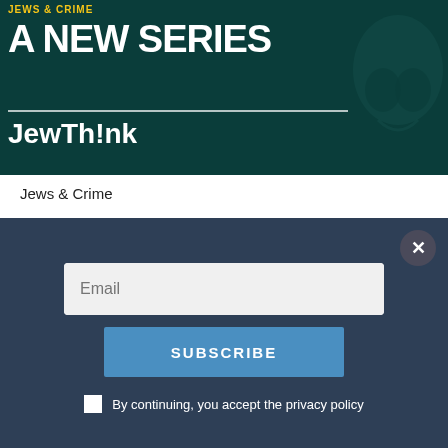[Figure (photo): Dark teal banner image with text 'JEWS & CRIME' in yellow, 'A NEW SERIES' in large white bold letters, a white divider line, and 'JewTh!nk' in white. A skull-like figure appears on the right side.]
Jews & Crime
SHARE
The Return of Jewish Body Horror
[Figure (screenshot): Email subscription popup overlay with a dark blue-grey background. Contains an email input field, a blue SUBSCRIBE button, and a privacy policy checkbox with text 'By continuing, you accept the privacy policy'. A close (X) button appears in the top right corner.]